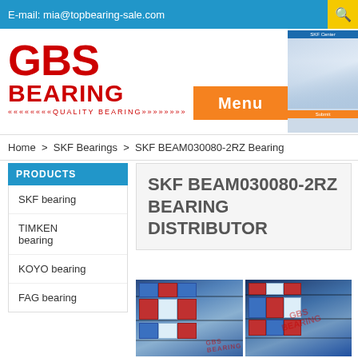E-mail: mia@topbearing-sale.com
[Figure (logo): GBS Bearing logo in red with quality bearing tagline]
Menu
Home > SKF Bearings > SKF BEAM030080-2RZ Bearing
PRODUCTS
SKF bearing
TIMKEN bearing
KOYO bearing
FAG bearing
SKF BEAM030080-2RZ BEARING DISTRIBUTOR
[Figure (photo): Two photos of SKF bearing boxes stacked on warehouse shelves with red GBS watermark]